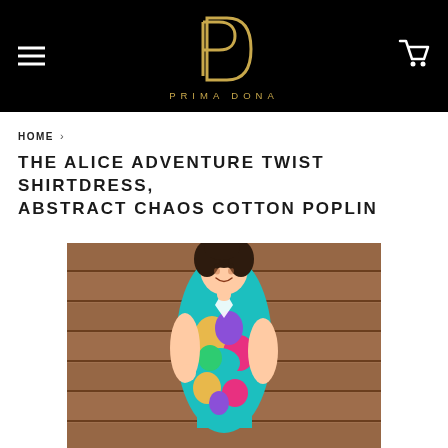PRIMA DONA
HOME ›
THE ALICE ADVENTURE TWIST SHIRTDRESS, ABSTRACT CHAOS COTTON POPLIN
[Figure (photo): Woman wearing a colorful abstract print shirtdress, standing in front of a wooden wall background, smiling, with short curly dark hair]